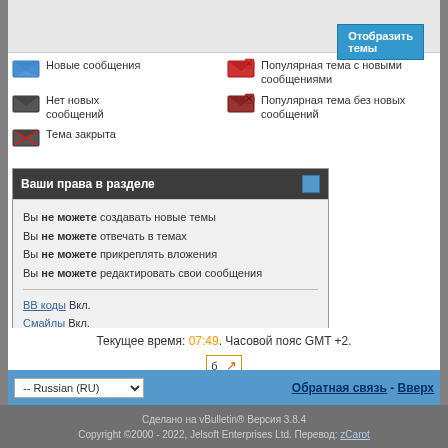[Figure (infographic): Button labeled Отобразить темы with blue background]
Новые сообщения — icon: blue envelope
Популярная тема с новыми сообщениями — icon: red envelope
Нет новых сообщений — icon: dark envelope
Популярная тема без новых сообщений — icon: dark red envelope
Тема закрыта — icon: strikethrough envelope
Ваши права в разделе
Вы не можете создавать новые темы
Вы не можете отвечать в темах
Вы не можете прикреплять вложения
Вы не можете редактировать свои сообщения
BB коды Вкл.
Смайлы Вкл.
[IMG] код Вкл.
HTML код Выкл.
Правила форума
Текущее время: 07:49. Часовой пояс GMT +2.
-- Russian (RU)   Обратная связь - Вверх
Сделано на vBulletin® Версия 3.8.4
Copyright ©2000 - 2022, Jelsoft Enterprises Ltd. Перевод: zCarot